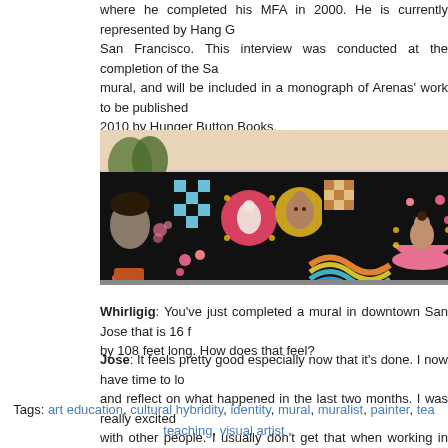where he completed his MFA in 2000. He is currently represented by Hang G... San Francisco. This interview was conducted at the completion of the Sa... mural, and will be included in a monograph of Arenas' work to be published 2010 by Hunger Button Books.
[Figure (photo): Photograph of a large outdoor mural on a dark wall featuring colorful folk-art style imagery including portraits, flowers, geometric patterns, circular motifs, and figures, stretching across a long building wall.]
Whirligig: You've just completed a mural in downtown San Jose that is 16 f... by 108 feet long. How does that feel?
Jose: It feels pretty good especially now that it's done. I now have time to lo... and reflect on what happened in the last two months. I was really excited with other people. I usually don't get that when working in the studio, in t... mostly alone time. So I got to work with a great team for about six weeks am... end of the project we held an unveiling party. It was a really good way to give... to all of them for being involved in such a big project.
(more…)
Tags: art education, cultural hybridity, identity, mural, muralist, painter, tea... teaching, visual artist